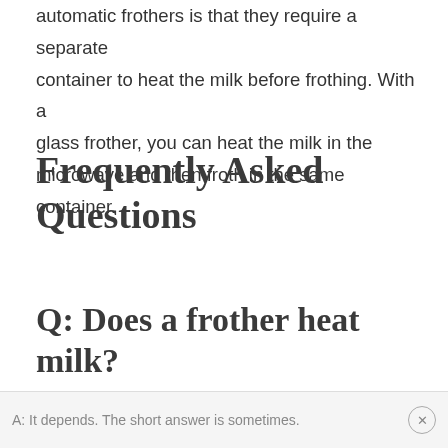automatic frothers is that they require a separate container to heat the milk before frothing. With a glass frother, you can heat the milk in the microwave and then froth in the same container.
Frequently Asked Questions
Q: Does a frother heat milk?
A: It depends. The short answer is sometimes.